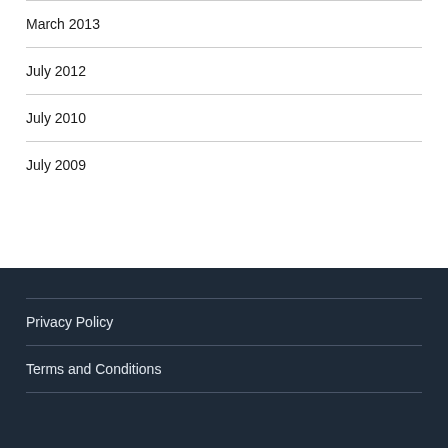March 2013
July 2012
July 2010
July 2009
Privacy Policy
Terms and Conditions